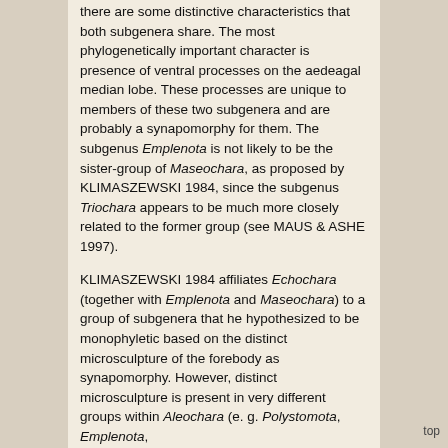there are some distinctive characteristics that both subgenera share. The most phylogenetically important character is presence of ventral processes on the aedeagal median lobe. These processes are unique to members of these two subgenera and are probably a synapomorphy for them. The subgenus Emplenota is not likely to be the sister-group of Maseochara, as proposed by KLIMASZEWSKI 1984, since the subgenus Triochara appears to be much more closely related to the former group (see MAUS & ASHE 1997).
KLIMASZEWSKI 1984 affiliates Echochara (together with Emplenota and Maseochara) to a group of subgenera that he hypothesized to be monophyletic based on the distinct microsculpture of the forebody as synapomorphy. However, distinct microsculpture is present in very different groups within Aleochara (e. g. Polystomota, Emplenota,
top